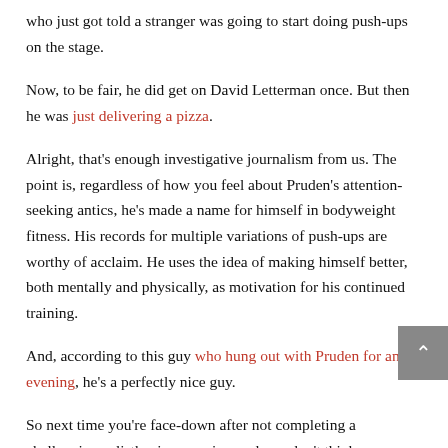who just got told a stranger was going to start doing push-ups on the stage.
Now, to be fair, he did get on David Letterman once. But then he was just delivering a pizza.
Alright, that's enough investigative journalism from us. The point is, regardless of how you feel about Pruden's attention-seeking antics, he's made a name for himself in bodyweight fitness. His records for multiple variations of push-ups are worthy of acclaim. He uses the idea of making himself better, both mentally and physically, as motivation for his continued training.
And, according to this guy who hung out with Pruden for an evening, he's a perfectly nice guy.
So next time you're face-down after not completing a challenging calisthenics exercise, and you don't think your body